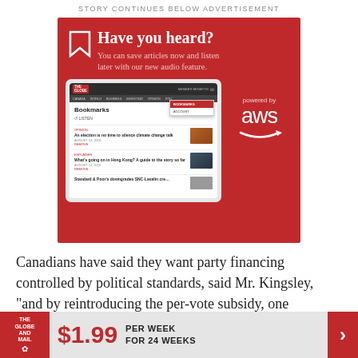STORY CONTINUES BELOW ADVERTISEMENT
[Figure (screenshot): Globe and Mail advertisement: 'Have you heard? You can save articles now and listen later with our new audio feature.' Shows tablet mockup with Bookmarks feature and AWS logo.]
Canadians have said they want party financing controlled by political standards, said Mr. Kingsley, "and by reintroducing the per-vote subsidy, one
[Figure (logo): The Globe and Mail subscription offer: $1.99 per week for 24 weeks, with red Globe and Mail logo on left and red arrow on right.]